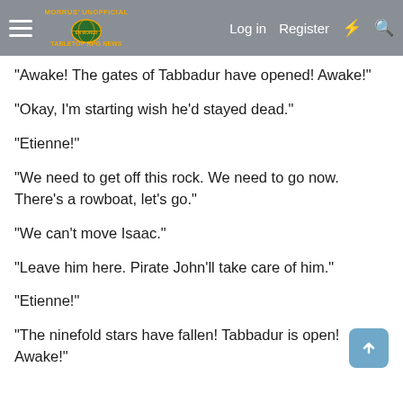[Figure (screenshot): Navigation bar of Morrus' Unofficial Tabletop RPG News website with hamburger menu, logo, Log in, Register, lightning bolt icon, and search icon]
"Awake! The gates of Tabbadur have opened! Awake!"
"Okay, I'm starting wish he'd stayed dead."
"Etienne!"
"We need to get off this rock. We need to go now. There's a rowboat, let's go."
"We can't move Isaac."
"Leave him here. Pirate John'll take care of him."
"Etienne!"
"The ninefold stars have fallen! Tabbadur is open! Awake!"